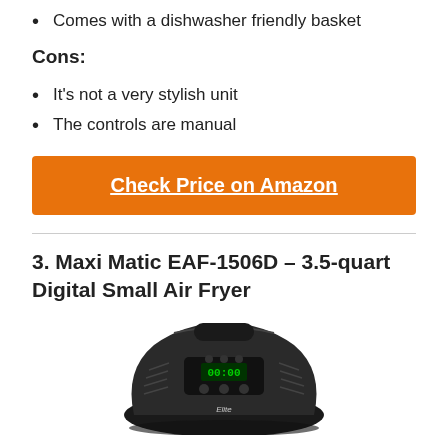Comes with a dishwasher friendly basket
Cons:
It's not a very stylish unit
The controls are manual
Check Price on Amazon
3. Maxi Matic EAF-1506D – 3.5-quart Digital Small Air Fryer
[Figure (photo): Photo of Elite Maxi Matic EAF-1506D black digital air fryer with green LED display]